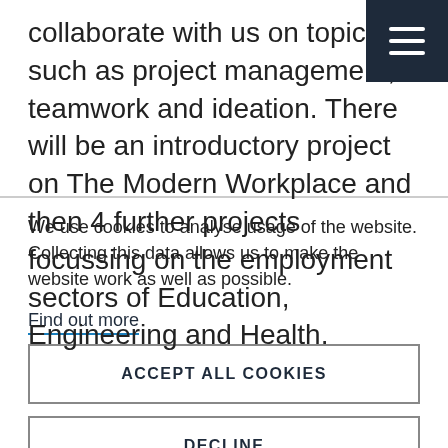collaborate with us on topics such as project management, teamwork and ideation. There will be an introductory project on The Modern Workplace and then 4 further projects focussing on the employment sectors of Education, Engineering and Health.
We use cookies to analyse usage of the website. Collecting this data allows us to make the website work as well as possible.
Find out more
ACCEPT ALL COOKIES
DECLINE
SET COOKIE PREFERENCES